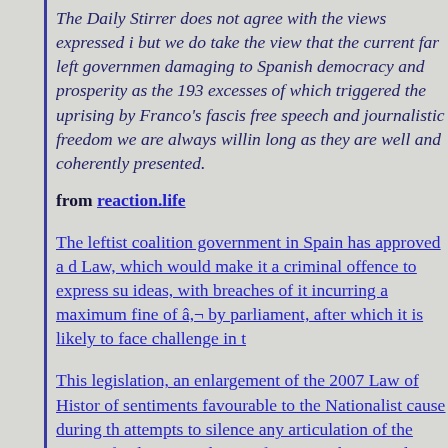The Daily Stirrer does not agree with the views expressed i but we do take the view that the current far left governmen damaging to Spanish democracy and prosperity as the 193 excesses of which triggered the uprising by Franco's fascis free speech and journalistic freedom we are always willin long as they are well and coherently presented.
from reaction.life
The leftist coalition government in Spain has approved a d Law, which would make it a criminal offence to express su ideas, with breaches of it incurring a maximum fine of â,¬ by parliament, after which it is likely to face challenge in t
This legislation, an enlargement of the 2007 Law of Histor of sentiments favourable to the Nationalist cause during th attempts to silence any articulation of the views of at least population of Spain at that period, which are also the politi descendants. What is â€œdemocraticâ€ about that? Is the expression of views with which one strongly disagrees?
â€œThis is the first law that expressly condemns and rem